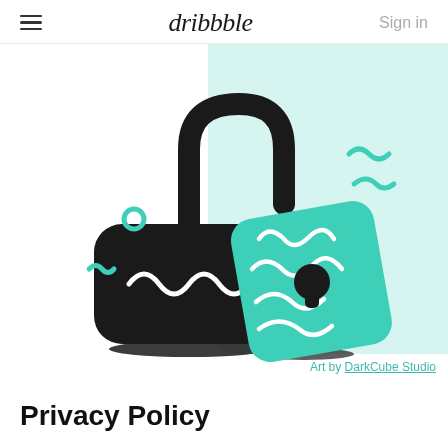dribbble  Sign in
[Figure (illustration): An open padlock illustration with a teal-colored front face decorated with white squiggly lines and a keyhole. The padlock body is black with white curly lines resembling a mouth. Teal decorative squiggles and a circle accent the background. Shadow lines appear below. Text reads: Art by DarkCube Studio.]
Privacy Policy